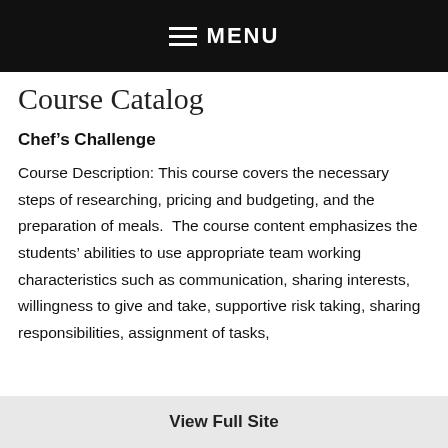MENU
Course Catalog
Chef’s Challenge
Course Description: This course covers the necessary steps of researching, pricing and budgeting, and the preparation of meals.  The course content emphasizes the students’ abilities to use appropriate team working characteristics such as communication, sharing interests, willingness to give and take, supportive risk taking, sharing responsibilities, assignment of tasks,
View Full Site